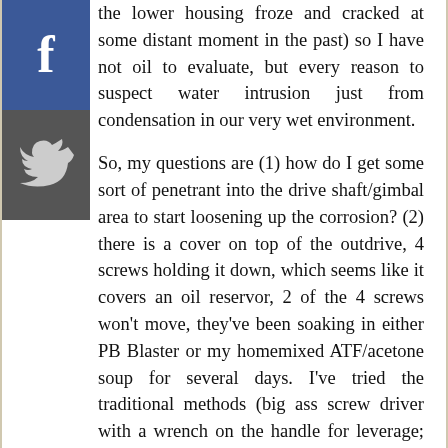[Figure (other): Facebook and Twitter social share buttons on the left side of the page]
the lower housing froze and cracked at some distant moment in the past) so I have not oil to evaluate, but every reason to suspect water intrusion just from condensation in our very wet environment.

So, my questions are (1) how do I get some sort of penetrant into the drive shaft/gimbal area to start loosening up the corrosion? (2) there is a cover on top of the outdrive, 4 screws holding it down, which seems like it covers an oil reservor, 2 of the 4 screws won't move, they've been soaking in either PB Blaster or my homemixed ATF/acetone soup for several days. I've tried the traditional methods (big ass screw driver with a wrench on the handle for leverage; swearing; impact driver (not a real impact gun, but a Makita cordless drill-drivers from Makita that shoots screws into wood like nobody's business) to the point of breaking a #3 phillips bit; heating the body with a torch; heating the screw with a torch; more swearing), given this resume of